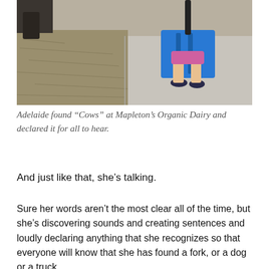[Figure (photo): A child holding a large blue snow shovel with a black handle, standing on a concrete floor in what appears to be a barn or dairy facility, with straw/hay visible on the floor to the left and an animal's leg partially visible at top left.]
Adelaide found “Cows” at Mapleton’s Organic Dairy and declared it for all to hear.
And just like that, she’s talking.
Sure her words aren’t the most clear all of the time, but she’s discovering sounds and creating sentences and loudly declaring anything that she recognizes so that everyone will know that she has found a fork, or a dog or a truck.
It’s been going on for months – her mouth forming words, so this shouldn’t come as a shock. But somehow this is. She got her haircut just over a week ago and since then it’s like she’s aged 6 months and is far older than this one-year-old